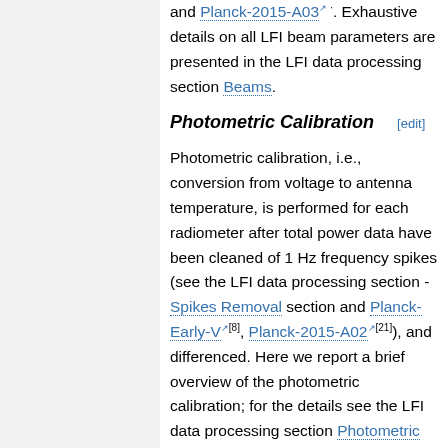and Planck-2015-A03. Exhaustive details on all LFI beam parameters are presented in the LFI data processing section Beams.
Photometric Calibration [edit]
Photometric calibration, i.e., conversion from voltage to antenna temperature, is performed for each radiometer after total power data have been cleaned of 1 Hz frequency spikes (see the LFI data processing section - Spikes Removal section and Planck-Early-V[8], Planck-2015-A02[21]), and differenced. Here we report a brief overview of the photometric calibration; for the details see the LFI data processing section Photometric Calibration.
Our calibrator is the well-known dipole signal induced by Earth and spacecraft